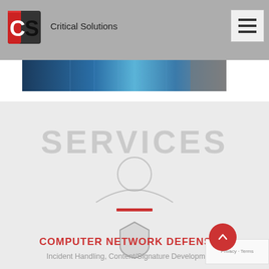[Figure (logo): Critical Solutions logo — red and black cube with CS letters, alongside text 'Critical Solutions']
[Figure (photo): Dark blue technology/server room hero banner image]
[Figure (illustration): Gray watermark text 'SERVICES' with a person silhouette icon (head circle and shoulders arc) below it, a red horizontal underline bar, and a shield icon below]
COMPUTER NETWORK DEFENSE
Incident Handling, Content/Signature Development,